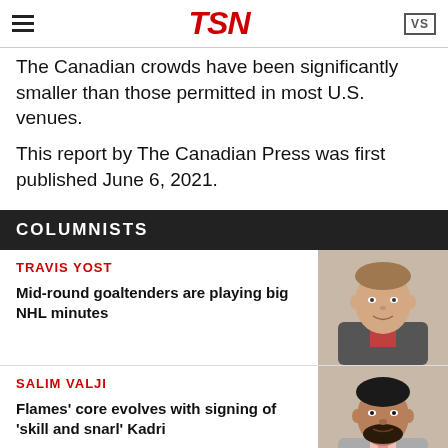TSN
The Canadian crowds have been significantly smaller than those permitted in most U.S. venues.
This report by The Canadian Press was first published June 6, 2021.
COLUMNISTS
TRAVIS YOST
Mid-round goaltenders are playing big NHL minutes
[Figure (photo): Photo of Travis Yost, a man in a suit smiling]
SALIM VALJI
Flames' core evolves with signing of 'skill and snarl' Kadri
[Figure (photo): Photo of Salim Valji, a man with facial hair in a suit with pink tie]